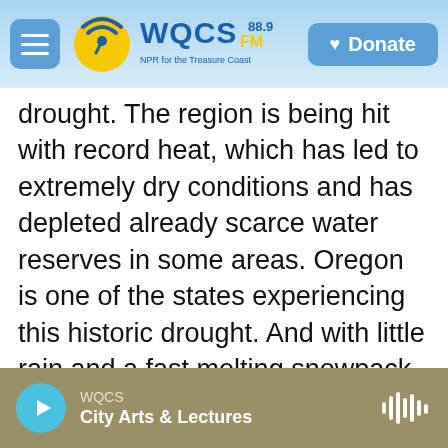WQCS 88.9 FM | Donate
drought. The region is being hit with record heat, which has led to extremely dry conditions and has depleted already scarce water reserves in some areas. Oregon is one of the states experiencing this historic drought. And with little rain and a fast melting snowpack, the state is preparing for what's expected to be a very busy wildfire season. Joining us to discuss how all of this is affecting his community is Phil Chang. He is a county commissioner for Deschutes County. That's in the central part of Oregon, and he works on water issues for the county.
WQCS | City Arts & Lectures